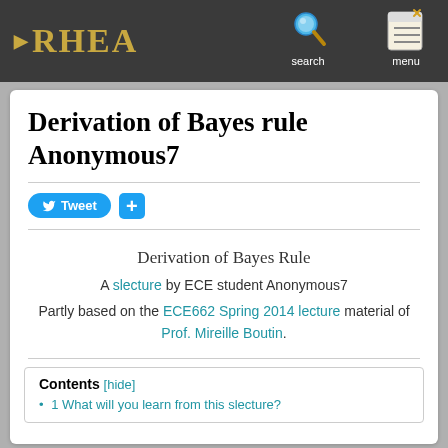RHEA
Derivation of Bayes rule Anonymous7
Tweet +
Derivation of Bayes Rule
A slecture by ECE student Anonymous7
Partly based on the ECE662 Spring 2014 lecture material of Prof. Mireille Boutin.
Contents [hide]
1 What will you learn from this slecture?